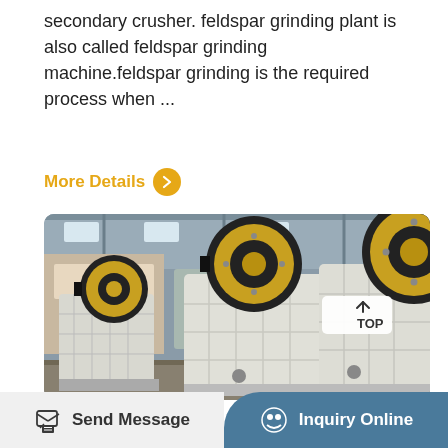secondary crusher. feldspar grinding plant is also called feldspar grinding machine.feldspar grinding is the required process when ...
More Details
[Figure (photo): Industrial jaw crushers in a factory setting, large white machines with black and yellow/gold flywheels, taken indoors in a warehouse/manufacturing facility]
Send Message
Inquiry Online